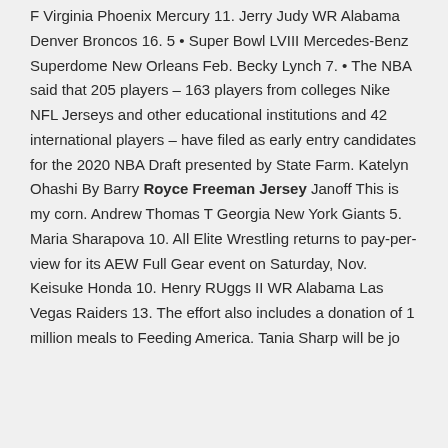F Virginia Phoenix Mercury 11. Jerry Judy WR Alabama Denver Broncos 16. 5 • Super Bowl LVIII Mercedes-Benz Superdome New Orleans Feb. Becky Lynch 7. • The NBA said that 205 players – 163 players from colleges Nike NFL Jerseys and other educational institutions and 42 international players – have filed as early entry candidates for the 2020 NBA Draft presented by State Farm. Katelyn Ohashi By Barry Royce Freeman Jersey Janoff This is my corn. Andrew Thomas T Georgia New York Giants 5. Maria Sharapova 10. All Elite Wrestling returns to pay-per-view for its AEW Full Gear event on Saturday, Nov. Keisuke Honda 10. Henry RUggs II WR Alabama Las Vegas Raiders 13. The effort also includes a donation of 1 million meals to Feeding America. Tania Sharp will be joining